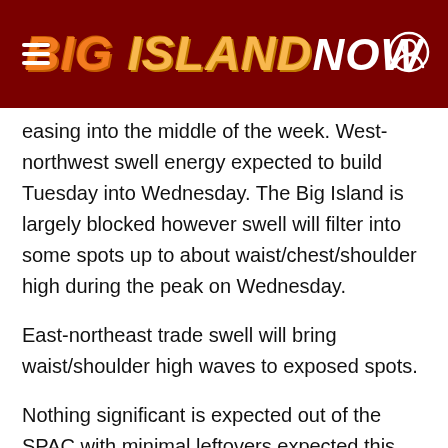BIG ISLAND NOW
easing into the middle of the week. West-northwest swell energy expected to build Tuesday into Wednesday. The Big Island is largely blocked however swell will filter into some spots up to about waist/chest/shoulder high during the peak on Wednesday.
East-northeast trade swell will bring waist/shoulder high waves to exposed spots.
Nothing significant is expected out of the SPAC with minimal leftovers expected this week.
Keep in mind, surf heights are measured on the… of the wave from trough to crest. Heights vary f…